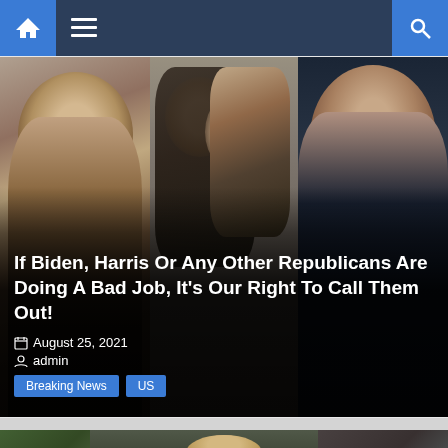Navigation bar with home icon, menu icon, and search icon
[Figure (photo): Three photos side by side: Joe Biden on left, group of women in hijabs in center, Kamala Harris on right, with dark overlay and article headline text overlay]
If Biden, Harris Or Any Other Republicans Are Doing A Bad Job, It's Our Right To Call Them Out!
August 25, 2021
admin
Breaking News  US
[Figure (photo): Woman with blonde hair in red jacket speaking at a microphone outdoors, with text PBX in bottom left corner]